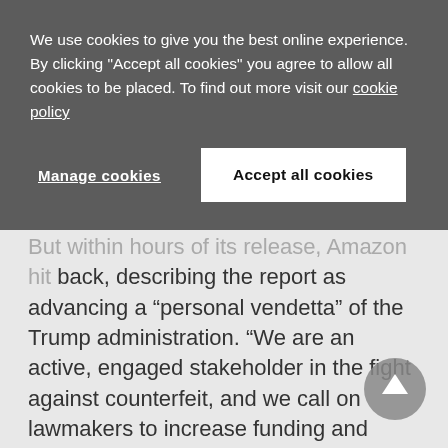We use cookies to give you the best online experience. By clicking "Accept all cookies" you agree to allow all cookies to be placed. To find out more visit our cookie policy
Manage cookies | Accept all cookies
But within hours of its release, Amazon hit back, describing the report as advancing a “personal vendetta” of the Trump administration. “We are an active, engaged stakeholder in the fight against counterfeit, and we call on lawmakers to increase funding and resources for law enforcement agencies so we can hold the real criminals accountable,” argued a company spokesperson. (Read more)